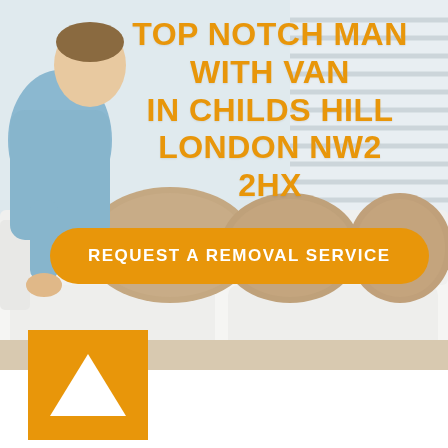[Figure (photo): Photo of a man in a light blue shirt leaning over a white sofa with beige cushions in a bright living room interior]
TOP NOTCH MAN WITH VAN IN CHILDS HILL LONDON NW2 2HX
REQUEST A REMOVAL SERVICE
[Figure (logo): Orange square logo with white upward-pointing triangle in the center]